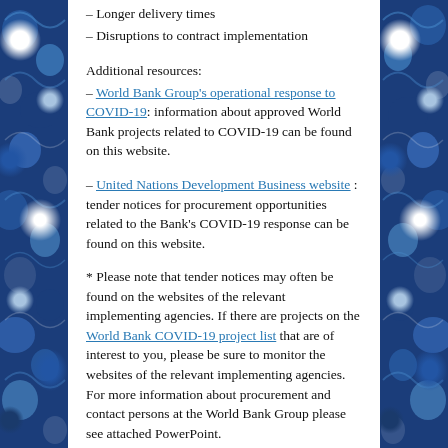– Longer delivery times
– Disruptions to contract implementation
Additional resources:
– World Bank Group's operational response to COVID-19: information about approved World Bank projects related to COVID-19 can be found on this website.
– United Nations Development Business website : tender notices for procurement opportunities related to the Bank's COVID-19 response can be found on this website.
* Please note that tender notices may often be found on the websites of the relevant implementing agencies. If there are projects on the World Bank COVID-19 project list that are of interest to you, please be sure to monitor the websites of the relevant implementing agencies. For more information about procurement and contact persons at the World Bank Group please see attached PowerPoint.